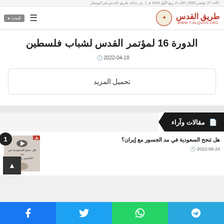طريق القدس | WWW.T-ALQUDS.ORG
الدورة 16 لمؤتمر القدس لشباب فلسطين
2022-04-18
تحميل المزيد
مقالات وآراء
هل تنجح السعودية في مد الجسور مع إيران؟
2022-08-24
Telegram | WhatsApp | Twitter | Facebook